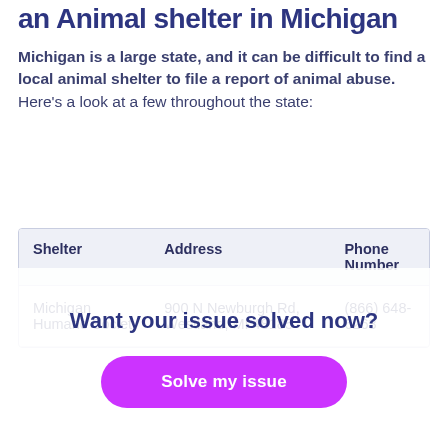an Animal shelter in Michigan
Michigan is a large state, and it can be difficult to find a local animal shelter to file a report of animal abuse. Here's a look at a few throughout the state:
| Shelter | Address | Phone Number |
| --- | --- | --- |
| Michigan Humane Society | 900 N Newburgh Rd, Westland, MI 48185 | (866) 648-6263 |
Want your issue solved now?
Solve my issue